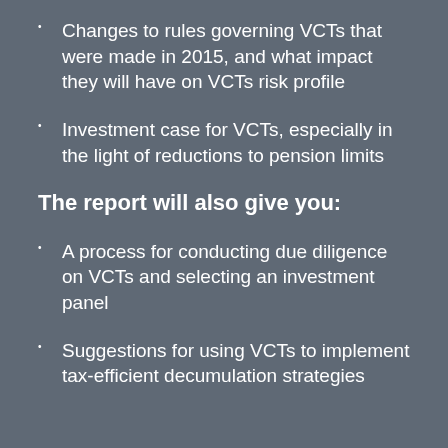Changes to rules governing VCTs that were made in 2015, and what impact they will have on VCTs risk profile
Investment case for VCTs, especially in the light of reductions to pension limits
The report will also give you:
A process for conducting due diligence on VCTs and selecting an investment panel
Suggestions for using VCTs to implement tax-efficient decumulation strategies